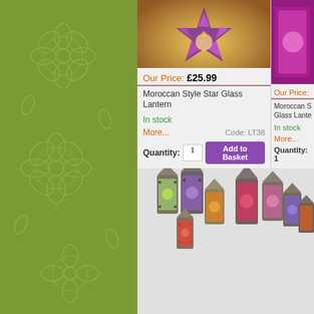[Figure (photo): Green floral patterned sidebar background]
[Figure (photo): Moroccan Style Star Glass Lantern - top left product image showing purple star-shaped lantern]
Our Price: £25.99
Moroccan Style Star Glass Lantern
In stock
More...
Code: LT38
Quantity: 1
[Figure (photo): Moroccan Style Glass Lantern - top right product image (partially cut off), showing pink/magenta lantern]
Our Price:
Moroccan S... Glass Lante...
In stock
More...
Quantity: 1
[Figure (photo): Collection of Moroccan style mini lanterns in various colors - green, purple, orange, red, pink]